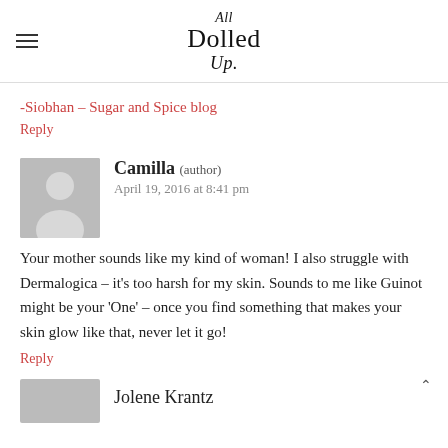All Dolled Up
-Siobhan – Sugar and Spice blog
Reply
[Figure (illustration): Generic user avatar placeholder — grey square with silhouette of person]
Camilla (author)
April 19, 2016 at 8:41 pm
Your mother sounds like my kind of woman! I also struggle with Dermalogica – it's too harsh for my skin. Sounds to me like Guinot might be your 'One' – once you find something that makes your skin glow like that, never let it go!
Reply
Jolene Krantz